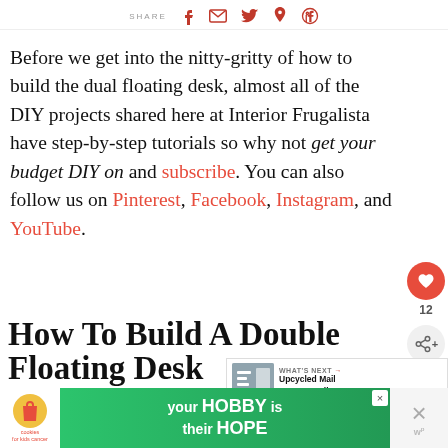[Figure (infographic): Share bar with icons: SHARE label, Facebook f icon, envelope/email icon, Twitter bird icon, Pinterest P icon, WhatsApp icon — all in red/crimson]
Before we get into the nitty-gritty of how to build the dual floating desk, almost all of the DIY projects shared here at Interior Frugalista have step-by-step tutorials so why not get your budget DIY on and subscribe. You can also follow us on Pinterest, Facebook, Instagram, and YouTube.
How To Build A Double Floating Desk
[Figure (infographic): Advertisement banner: cookies for kids cancer logo, green background, 'your HOBBY is their HOPE' text, close X button, and WP logo in corner]